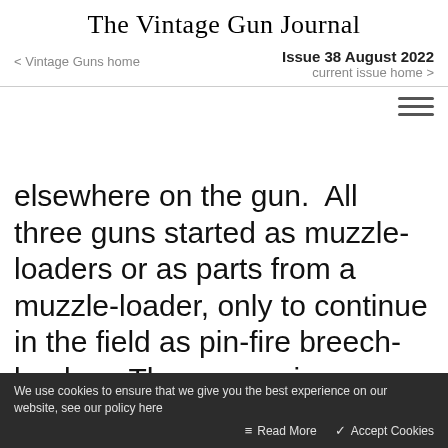The Vintage Gun Journal
Issue 38 August 2022 | < Vintage Guns home | current issue home >
elsewhere on the gun.  All three guns started as muzzle-loaders or as parts from a muzzle-loader, only to continue in the field as pin-fire breech-loaders. The conversion process on these guns ended there, though they could have gone on to
We use cookies to ensure that we give you the best experience on our website, see our policy here | Read More | Accept Cookies